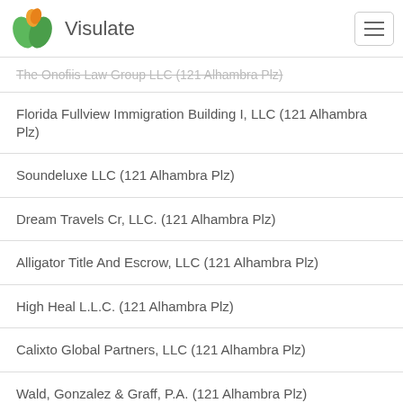Visulate
The Onofiis Law Group LLC (121 Alhambra Plz)
Florida Fullview Immigration Building I, LLC (121 Alhambra Plz)
Soundeluxe LLC (121 Alhambra Plz)
Dream Travels Cr, LLC. (121 Alhambra Plz)
Alligator Title And Escrow, LLC (121 Alhambra Plz)
High Heal L.L.C. (121 Alhambra Plz)
Calixto Global Partners, LLC (121 Alhambra Plz)
Wald, Gonzalez & Graff, P.A. (121 Alhambra Plz)
Christopher G. Berga, P.A. (121 Alhambra Plz)
The Condo Clinic, P.A. (121 Alhambra Plz)